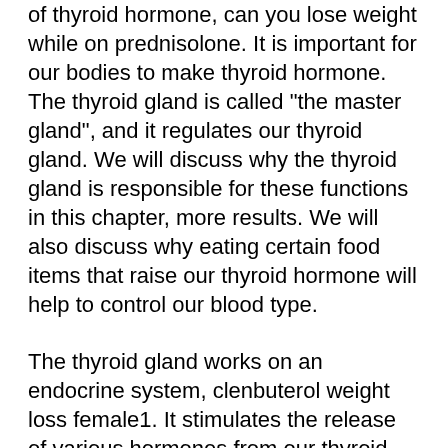of thyroid hormone, can you lose weight while on prednisolone. It is important for our bodies to make thyroid hormone. The thyroid gland is called "the master gland", and it regulates our thyroid gland. We will discuss why the thyroid gland is responsible for these functions in this chapter, more results. We will also discuss why eating certain food items that raise our thyroid hormone will help to control our blood type.
The thyroid gland works on an endocrine system, clenbuterol weight loss female1. It stimulates the release of various hormones from our thyroid gland. These hormones are called thyroid hormones or T4. These hormones are the same as our own, clenbuterol weight loss female2. We don't produce them, so we don't need to worry about them, clenbuterol weight loss female3.